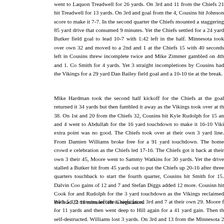went to Laquon Treadwell for 26 yards. On 3rd and 11 from the Chiefs 21 hit Treadwell for 13 yards. On 3rd and goal from the 4, Cousins hit Johnson score to make it 7-7. In the second quarter the Chiefs mounted a staggering 85 yard drive that consumed 9 minutes. Yet the Chiefs settled for a 24 yard Butker field goal to lead 10-7 with 1:42 left in the half. Minnesota took over own 32 and moved to a 2nd and 1 at the Chiefs 15 with 40 seconds left in Cousins threw incomplete twice and Mike Zimmer gambled on 4th and 1. Co Smith for 4 yards. Yet 3 straight incompletions by Cousins had the Vikings for a 29 yard Dan Bailey field goal and a 10-10 tie at the break.
Mike Hardman took the second half kickoff for the Chiefs at the goal returned it 34 yards but then fumbled it away as the Vikings took over at th 38. On 1st and 20 from the Chiefs 32, Cousins hit Kyle Rudolph for 15 an and 4 went to Abdullah for the 16 yard touchdown to make it 16-10 Viki extra point was no good. The Chiefs took over at their own 3 yard line. From Damien Williams broke free for a 91 yard touchdown. The home crowd e celebration as the Chiefs led 17-16. The Chiefs got it back at their own 3 their 45, Moore went to Sammy Watkins for 30 yards. Yet the drive stalled a Butker hit from 45 yards out to put the Chiefs up 20-16 after three quarters touchback to start the fourth quarter, Cousins hit Smith for 15. Dalvin Coo gains of 12 and 7 and Stefan Diggs added 12 more. Cousisn hit Cook for and Rudolph for the 3 yard touchdown as the Vikings reclaimed the lead 23 11 minutes left in regulation.
With 5 1/2 minutes left the Chiefs faced 3rd and 7 at their own 29. Moore f for 11 yards and then went deep to Hill again for a 41 yard gain. Then th self-destructed. Williams lost 3 yards. On 3rd and 13 from the Minnesota 2 was sacked and fumbled. The Chiefs retained possession after a 14 ya...